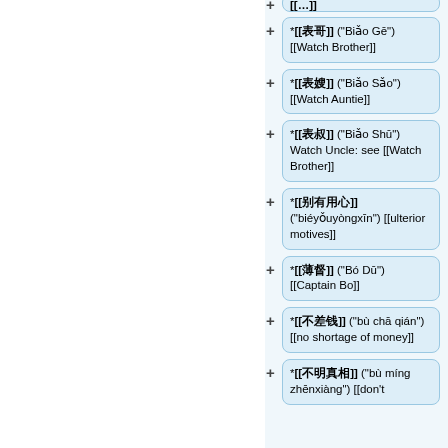*[[表哥]] ("Biǎo Gē") [[Watch Brother]]
*[[表嫂]] ("Biǎo Sǎo") [[Watch Auntie]]
*[[表叔]] ("Biǎo Shū") Watch Uncle: see [[Watch Brother]]
*[[别有用心]] ("biéyǒuyòngxīn") [[ulterior motives]]
*[[薄督]] ("Bó Dū") [[Captain Bo]]
*[[不差钱]] ("bù chā qián") [[no shortage of money]]
*[[不明真相]] ("bù míng zhēnxiàng") [[don't